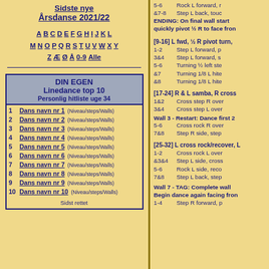Sidste nye Årsdanse 2021/22
A B C D E F G H I J K L M N O P Q R S T U V W X Y Z Æ Ø Å 0-9 Alle
DIN EGEN
Linedance top 10
Personlig hitliste uge 34
1 Dans navn nr 1 (Niveau/steps/Walls)
2 Dans navn nr 2 (Niveau/steps/Walls)
3 Dans navn nr 3 (Niveau/steps/Walls)
4 Dans navn nr 4 (Niveau/steps/Walls)
5 Dans navn nr 5 (Niveau/steps/Walls)
6 Dans navn nr 6 (Niveau/steps/Walls)
7 Dans navn nr 7 (Niveau/steps/Walls)
8 Dans navn nr 8 (Niveau/steps/Walls)
9 Dans navn nr 9 (Niveau/steps/Walls)
10 Dans navn nr 10 (Niveau/steps/Walls)
Sidst rettet
5-6 Rock L forward, r
&7-8 Step L back, touc
ENDING: On final wall start quickly pivot ½ R to face fro
[9-16] L fwd, ½ R pivot turn,
1-2 Step L forward, p
3&4 Step L forward, s
5-6 Turning ½ left ste
&7 Turning 1/8 L hite
&8 Turning 1/8 L hite
[17-24] R & L samba, R cross
1&2 Cross step R over
3&4 Cross step L over
Wall 3 - Restart: Dance first 2
5-6 Cross rock R over
7&8 Step R side, step
[25-32] L cross rock/recover, L
1-2 Cross rock L over
&3&4 Step L side, cross
5-6 Rock L side, reco
7&8 Step L back, step
Wall 7 - TAG: Complete wall
Begin dance again facing fro
1-4 Step R forward, p